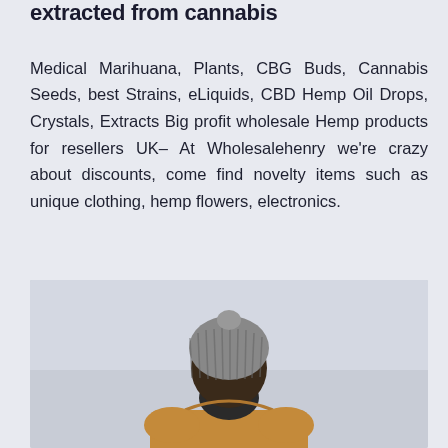extracted from cannabis
Medical Marihuana, Plants, CBG Buds, Cannabis Seeds, best Strains, eLiquids, CBD Hemp Oil Drops, Crystals, Extracts Big profit wholesale Hemp products for resellers UK– At Wholesalehenry we're crazy about discounts, come find novelty items such as unique clothing, hemp flowers, electronics.
[Figure (photo): Person seen from behind wearing a grey knitted beanie hat and a tan/ochre hooded jacket, photographed against a light grey background.]